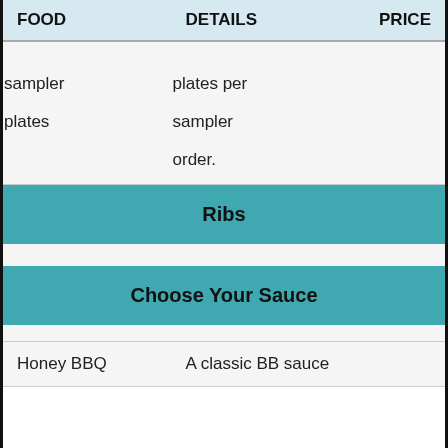| FOOD | DETAILS | PRICE |
| --- | --- | --- |
| sampler
plates | plates per
sampler
order. |  |
| Ribs |  |  |
| Choose Your Sauce |  |  |
| Honey BBQ | A classic BB sauce |  |